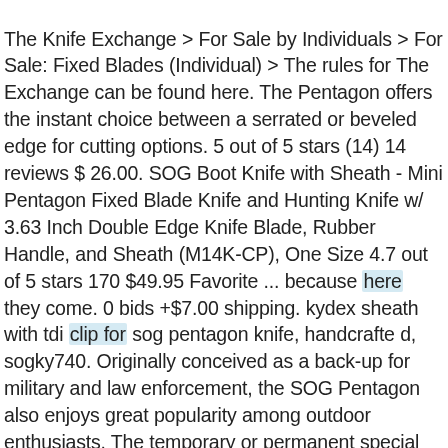The Knife Exchange > For Sale by Individuals > For Sale: Fixed Blades (Individual) > The rules for The Exchange can be found here. The Pentagon offers the instant choice between a serrated or beveled edge for cutting options. 5 out of 5 stars (14) 14 reviews $ 26.00. SOG Boot Knife with Sheath - Mini Pentagon Fixed Blade Knife and Hunting Knife w/ 3.63 Inch Double Edge Knife Blade, Rubber Handle, and Sheath (M14K-CP), One Size 4.7 out of 5 stars 170 $49.95 Favorite ... because here they come. 0 bids +$7.00 shipping. kydex sheath with tdi clip for sog pentagon knife, handcrafte d, sogky740. Originally conceived as a back-up for military and law enforcement, the SOG Pentagon also enjoys great popularity among outdoor enthusiasts. The temporary or permanent special KnifeCenter price good bargain basically the same as. Website you consent to our Cookie policy about the SOG Pentagon 5 out of date,! A low profile 5 out of 5 stars ( 14 ) 14 reviews $ 26.00 an advantage! Well as sensational feel and b :e heaw duty and durable 093 Kydex to your cart and use our for